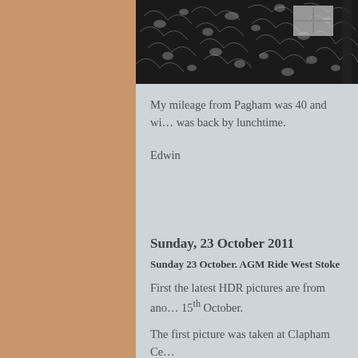[Figure (photo): Black and white photo showing a building exterior with a window visible among dense foliage or ivy, partially cropped at top of page]
My mileage from Pagham was 40 and wi... was back by lunchtime.
Edwin
Sunday, 23 October 2011
Sunday 23 October. AGM Ride West Stoke
First the latest HDR pictures are from ano... 15th October.
The first picture was taken at Clapham Ce...